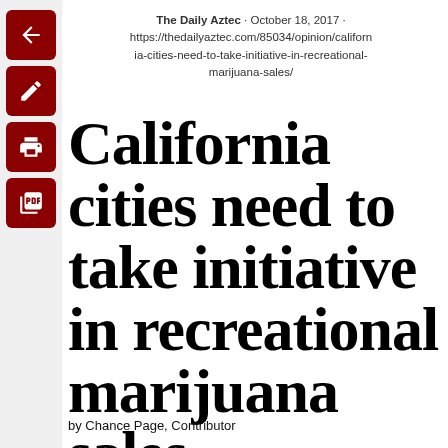The Daily Aztec · October 18, 2017 · https://thedailyaztec.com/85034/opinion/california-cities-need-to-take-initiative-in-recreational-marijuana-sales/
California cities need to take initiative in recreational marijuana sales
by Chance Page, Contributor